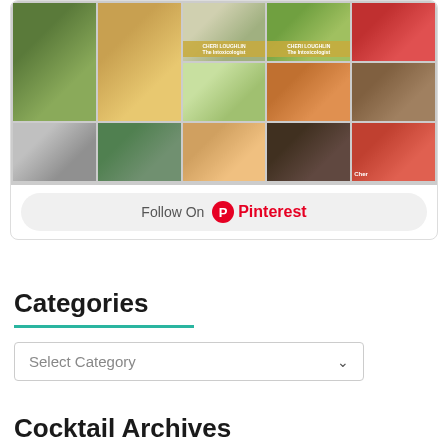[Figure (photo): Pinterest photo grid widget showing cocktail images in a 5-column grid layout]
Follow On Pinterest
Categories
Select Category
Cocktail Archives
Select Month